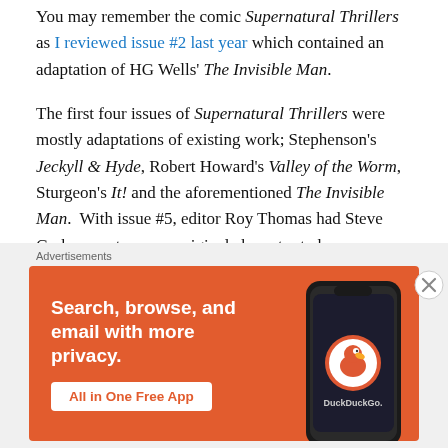You may remember the comic Supernatural Thrillers as I reviewed issue #2 last year which contained an adaptation of HG Wells' The Invisible Man.
The first four issues of Supernatural Thrillers were mostly adaptations of existing work; Stephenson's Jeckyll & Hyde, Robert Howard's Valley of the Worm, Sturgeon's It! and the aforementioned The Invisible Man.  With issue #5, editor Roy Thomas had Steve Gerber create a new original character to be run as a feature.  While issue #6 would contain a somewhat sequel to Irving's Sleepy Hollow, issues #7-15 would solely feature the character
[Figure (other): DuckDuckGo advertisement banner with orange background showing 'Search, browse, and email with more privacy. All in One Free App' with a phone graphic and DuckDuckGo logo]